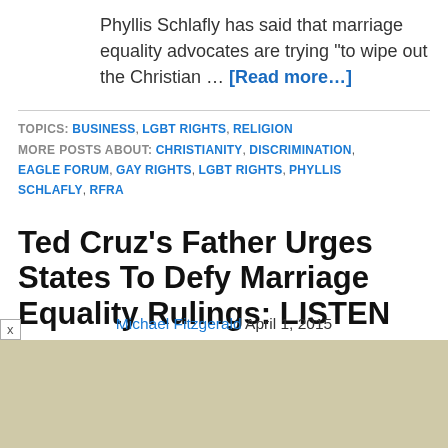Phyllis Schlafly has said that marriage equality advocates are trying “to wipe out the Christian … [Read more…]
TOPICS: BUSINESS, LGBT RIGHTS, RELIGION MORE POSTS ABOUT: CHRISTIANITY, DISCRIMINATION, EAGLE FORUM, GAY RIGHTS, LGBT RIGHTS, PHYLLIS SCHLAFLY, RFRA
Ted Cruz’s Father Urges States To Defy Marriage Equality Rulings: LISTEN
Michael Fitzgerald April 1, 2015